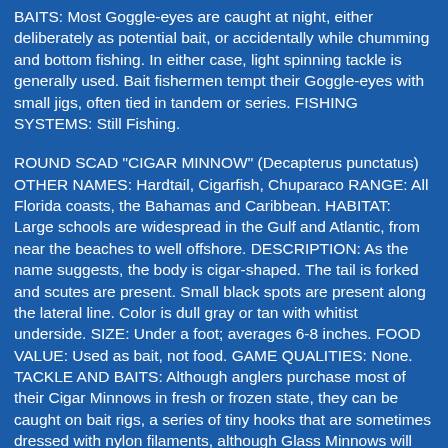BAITS: Most Goggle-eyes are caught at night, either deliberately as potential bait, or accidentally while chumming and bottom fishing. In either case, light spinning tackle is generally used. Bait fishermen tempt their Goggle-eyes with small jigs, often tied in tandem or series. FISHING SYSTEMS: Still Fishing.
ROUND SCAD "CIGAR MINNOW" (Decapterus punctatus) OTHER NAMES: Hardtail, Cigarfish, Chuparaco RANGE: All Florida coasts, the Bahamas and Caribbean. HABITAT: Large schools are widespread in the Gulf and Atlantic, from near the beaches to well offshore. DESCRIPTION: As the name suggests, the body is cigar-shaped. The tail is forked and scutes are present. Small black spots are present along the lateral line. Color is dull gray or tan with whitist underside. SIZE: Under a foot; averages 6-8 inches. FOOD VALUE: Used as bait, not food. GAME QUALITIES: None. TACKLE AND BAITS: Although anglers purchase most of their Cigar Minnows in fresh or frozen state, they can be caught on bait rigs, a series of tiny hooks that are sometimes dressed with nylon filaments, although Glass Minnows will just as readily take the plain hooks. This rig can be purchased at tackle shops or put together by the angler. A sinker is fixed to the end of the string of hooks. A stout rod and fairly heavy line will make things